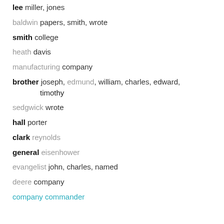lee miller, jones
baldwin papers, smith, wrote
smith college
heath davis
manufacturing company
brother joseph, edmund, william, charles, edward, timothy
sedgwick wrote
hall porter
clark reynolds
general eisenhower
evangelist john, charles, named
deere company
company commander